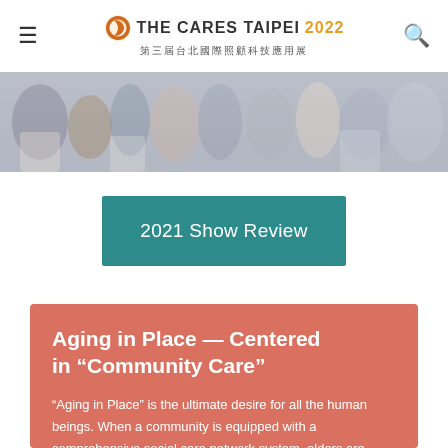THE CARES TAIPEI 2022 第三屆台北國際照顧科技應用展
[Figure (photo): Crowd of people at exhibition event, partial photo strip at top of page]
2021 Show Review
Aging in Place — Centered in “Community Care”
“Aging in Place” is the ultimate desire for all the human beings. When a community is equipped with a comprehensive social care network system, elders are more likely to procrastinate aging. If Taiwan wants to build a perfect aging society, it requires diversified supports and integrated resources from all the industries